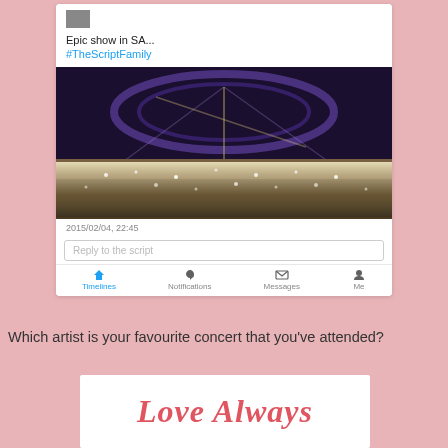[Figure (screenshot): Screenshot of a tweet showing 'Epic show in SA...' with hashtag #TheScriptFamily, a concert photo of a large crowd with stage lighting, timestamp 2015/02/04, 22:45, reply bar 'Reply to the script', and Twitter navigation bar with Timelines, Notifications, Messages, Me]
Which artist is your favourite concert that you've attended?
[Figure (illustration): White box with cursive red/pink text reading 'Love Always']